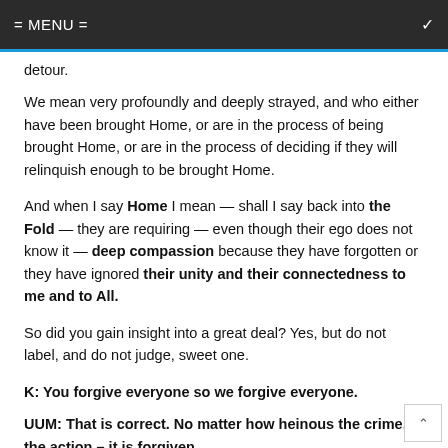= MENU =
detour.
We mean very profoundly and deeply strayed, and who either have been brought Home, or are in the process of being brought Home, or are in the process of deciding if they will relinquish enough to be brought Home.
And when I say Home I mean — shall I say back into the Fold — they are requiring — even though their ego does not know it — deep compassion because they have forgotten or they have ignored their unity and their connectedness to me and to All.
So did you gain insight into a great deal? Yes, but do not label, and do not judge, sweet one.
K: You forgive everyone so we forgive everyone.
UUM: That is correct. No matter how heinous the crime, the action – it is forgiven.